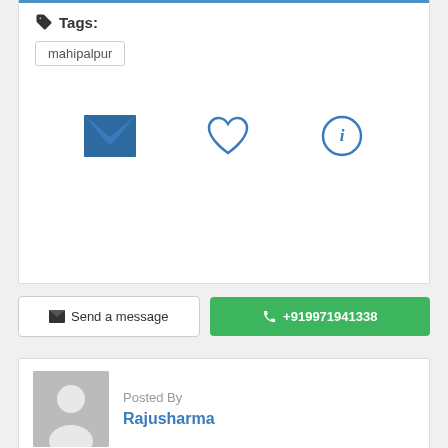Tags:
mahipalpur
[Figure (infographic): Three icons: envelope/mail icon, heart icon, and info (i) icon in a circle]
Send a message
+919971941338
Posted By
Rajusharma
Location
Delhi